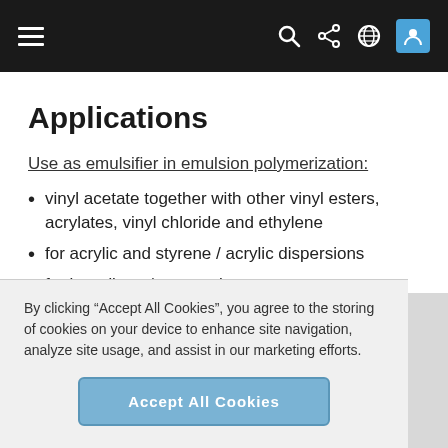[Navigation bar with hamburger menu, search, share, globe, and profile icons]
Applications
Use as emulsifier in emulsion polymerization:
vinyl acetate together with other vinyl esters, acrylates, vinyl chloride and ethylene
for acrylic and styrene / acrylic dispersions
for butadiene / styrene latex
Hostapal BV conc. is normally used in concentrations of
By clicking “Accept All Cookies”, you agree to the storing of cookies on your device to enhance site navigation, analyze site usage, and assist in our marketing efforts.
Accept All Cookies